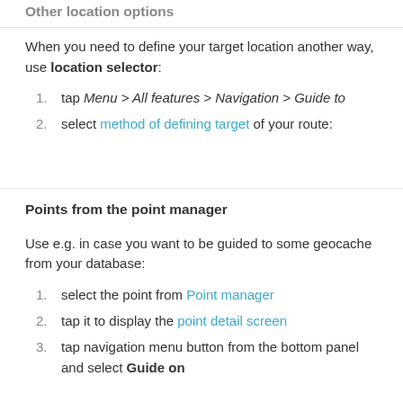Other location options
When you need to define your target location another way, use location selector:
tap Menu > All features > Navigation > Guide to
select method of defining target of your route:
Points from the point manager
Use e.g. in case you want to be guided to some geocache from your database:
select the point from Point manager
tap it to display the point detail screen
tap navigation menu button from the bottom panel and select Guide on